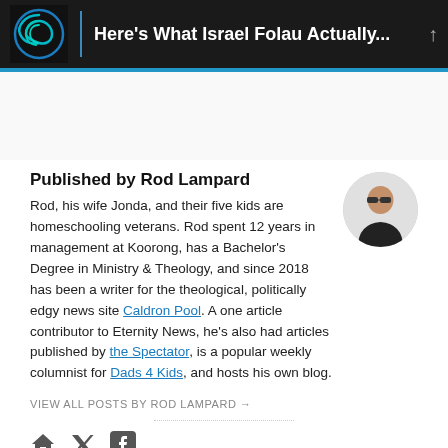Here's What Israel Folau Actually...
Published by Rod Lampard
Rod, his wife Jonda, and their five kids are homeschooling veterans. Rod spent 12 years in management at Koorong, has a Bachelor's Degree in Ministry & Theology, and since 2018 has been a writer for the theological, politically edgy news site Caldron Pool. A one article contributor to Eternity News, he's also had articles published by the Spectator, is a popular weekly columnist for Dads 4 Kids, and hosts his own blog.
VIEW ALL POSTS BY ROD LAMPARD →